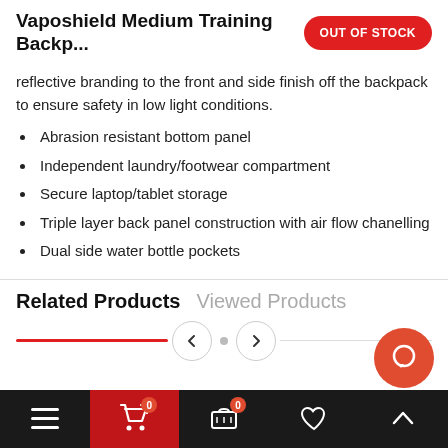Vaposhield Medium Training Backp...
reflective branding to the front and side finish off the backpack to ensure safety in low light conditions.
Abrasion resistant bottom panel
Independent laundry/footwear compartment
Secure laptop/tablet storage
Triple layer back panel construction with air flow chanelling
Dual side water bottle pockets
Related Products   Viewed Products
Navigation bar with menu, cart (0), wishlist, and scroll-to-top icons